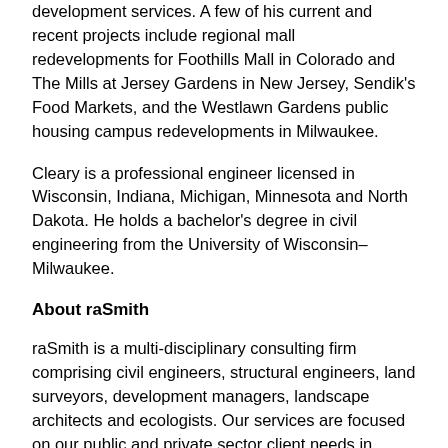development services. A few of his current and recent projects include regional mall redevelopments for Foothills Mall in Colorado and The Mills at Jersey Gardens in New Jersey, Sendik's Food Markets, and the Westlawn Gardens public housing campus redevelopments in Milwaukee.
Cleary is a professional engineer licensed in Wisconsin, Indiana, Michigan, Minnesota and North Dakota. He holds a bachelor's degree in civil engineering from the University of Wisconsin–Milwaukee.
About raSmith
raSmith is a multi-disciplinary consulting firm comprising civil engineers, structural engineers, land surveyors, development managers, landscape architects and ecologists. Our services are focused on our public and private sector client needs in design and construction including land development, site planning and design, structural engineering, municipal engineering, transportation and traffic, surveying.